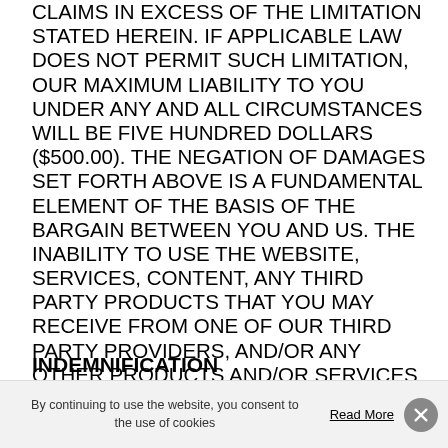CLAIMS IN EXCESS OF THE LIMITATION STATED HEREIN. IF APPLICABLE LAW DOES NOT PERMIT SUCH LIMITATION, OUR MAXIMUM LIABILITY TO YOU UNDER ANY AND ALL CIRCUMSTANCES WILL BE FIVE HUNDRED DOLLARS ($500.00). THE NEGATION OF DAMAGES SET FORTH ABOVE IS A FUNDAMENTAL ELEMENT OF THE BASIS OF THE BARGAIN BETWEEN YOU AND US. THE INABILITY TO USE THE WEBSITE, SERVICES, CONTENT, ANY THIRD PARTY PRODUCTS THAT YOU MAY RECEIVE FROM ONE OF OUR THIRD PARTY PROVIDERS, AND/OR ANY OTHER PRODUCTS AND/OR SERVICES THAT YOU MAY APPLY FOR THROUGH THE WEBSITE WOULD NOT BE PROVIDED TO YOU WITHOUT SUCH LIMITATIONS.
INDEMNIFICATION
You agree to indemnify and hold harmless...
By continuing to use the website, you consent to the use of cookies